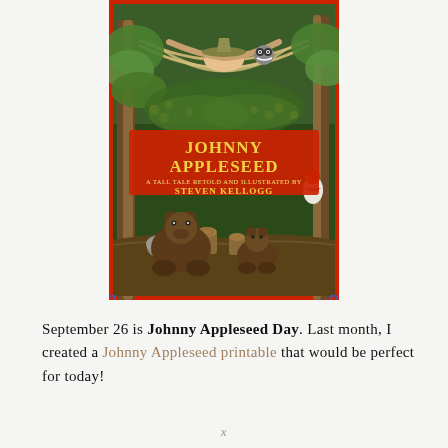[Figure (illustration): Book cover of 'Johnny Appleseed: A Tall Tale Retold and Illustrated by Steven Kellogg' showing a forest scene with bears, a raccoon, a woodpecker, and a person in a hammock surrounded by foliage.]
September 26 is Johnny Appleseed Day. Last month, I created a Johnny Appleseed printable that would be perfect for today!